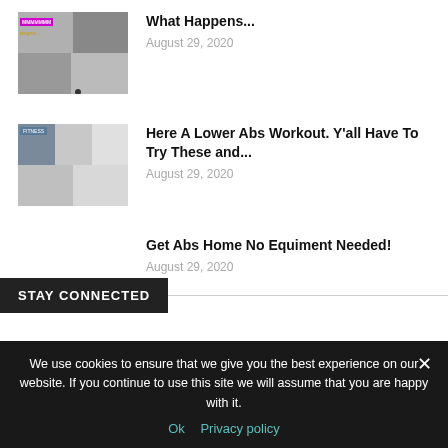[Figure (photo): Thumbnail collage image for first article]
What Happens...
August 29, 2020
[Figure (photo): Thumbnail collage image for second article]
Here A Lower Abs Workout. Y’all Have To Try These and...
August 29, 2020
Get Abs Home No Equiment Needed!
August 29, 2020
STAY CONNECTED
We use cookies to ensure that we give you the best experience on our website. If you continue to use this site we will assume that you are happy with it.
Ok   Privacy policy